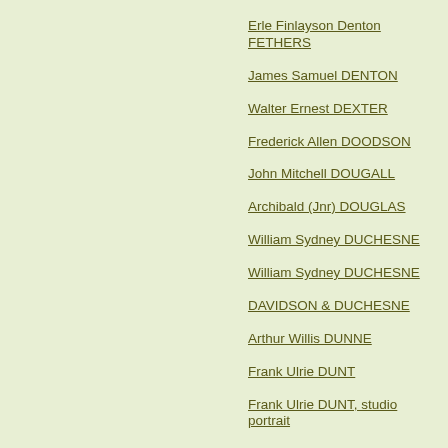Erle Finlayson Denton FETHERS
James Samuel DENTON
Walter Ernest DEXTER
Frederick Allen DOODSON
John Mitchell DOUGALL
Archibald (Jnr) DOUGLAS
William Sydney DUCHESNE
William Sydney DUCHESNE
DAVIDSON & DUCHESNE
Arthur Willis DUNNE
Frank Ulrie DUNT
Frank Ulrie DUNT, studio portrait
Harold EDWARDS
Charles Hazell ELLIOTT